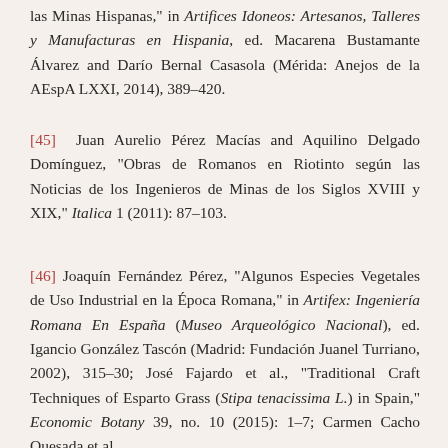las Minas Hispanas," in Artifices Idoneos: Artesanos, Talleres y Manufacturas en Hispania, ed. Macarena Bustamante Álvarez and Darío Bernal Casasola (Mérida: Anejos de la AEspA LXXI, 2014), 389–420.
[45] Juan Aurelio Pérez Macías and Aquilino Delgado Domínguez, "Obras de Romanos en Riotinto según las Noticias de los Ingenieros de Minas de los Siglos XVIII y XIX," Italica 1 (2011): 87–103.
[46] Joaquín Fernández Pérez, "Algunos Especies Vegetales de Uso Industrial en la Época Romana," in Artifex: Ingeniería Romana En España (Museo Arqueológico Nacional), ed. Igancio González Tascón (Madrid: Fundación Juanel Turriano, 2002), 315–30; José Fajardo et al., "Traditional Craft Techniques of Esparto Grass (Stipa tenacissima L.) in Spain," Economic Botany 39, no. 10 (2015): 1–7; Carmen Cacho Quesada et al.